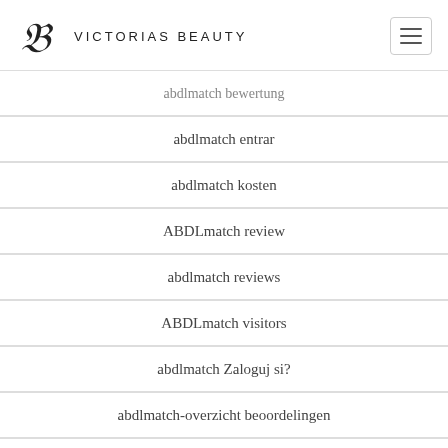Victorias Beauty
abdlmatch bewertung
abdlmatch entrar
abdlmatch kosten
ABDLmatch review
abdlmatch reviews
ABDLmatch visitors
abdlmatch Zaloguj si?
abdlmatch-overzicht beoordelingen
abilene escort index